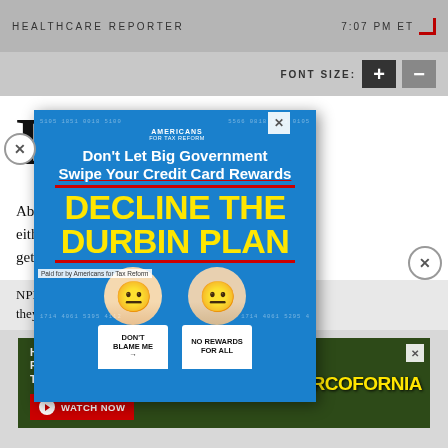HEALTHCARE REPORTER   7:07 PM ET
FONT SIZE:
Forty support 2020 do according
[Figure (infographic): Popup advertisement from Americans for Tax Reform: 'Don't Let Big Government Swipe Your Credit Card Rewards — DECLINE THE DURBIN PLAN' with cartoon faces of Biden and Durbin on white t-shirts reading 'DON'T BLAME ME' and 'NO REWARDS FOR ALL']
About either a will get one from NPR, PBS and also found thirty percent say they remain
[Figure (infographic): Bottom banner ad: 'HOW PROGRESSIVES SOLD OUT RURAL TOWNS TO FOREIGN DRUG LORDS' with NARCOFORNIA branding and WATCH NOW button]